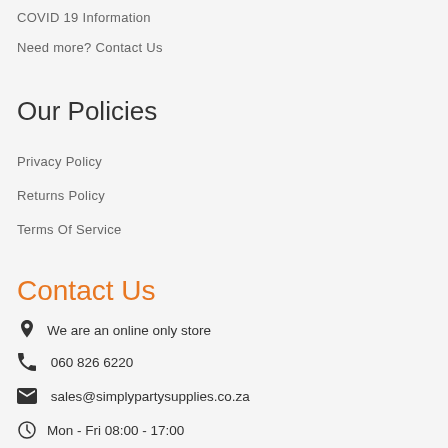COVID 19 Information
Need more? Contact Us
Our Policies
Privacy Policy
Returns Policy
Terms Of Service
Contact Us
We are an online only store
060 826 6220
sales@simplypartysupplies.co.za
Mon - Fri 08:00 - 17:00